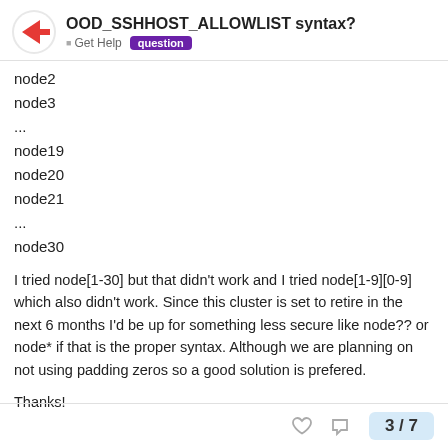OOD_SSHHOST_ALLOWLIST syntax? | Get Help | question
node2
node3
...
node19
node20
node21
...
node30
I tried node[1-30] but that didn't work and I tried node[1-9][0-9] which also didn't work. Since this cluster is set to retire in the next 6 months I'd be up for something less secure like node?? or node* if that is the proper syntax. Although we are planning on not using padding zeros so a good solution is prefered.
Thanks!
3 / 7